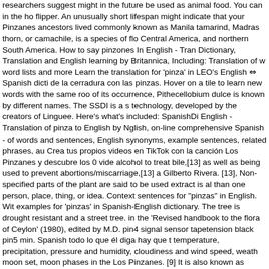researchers suggest might in the future be used as animal food. You can in the ho flipper. An unusually short lifespan might indicate that your Pinzanes ancestors lived commonly known as Manila tamarind, Madras thorn, or camachile, is a species of flo Central America, and northern South America. How to say pinzones In English - Tran Dictionary, Translation and English learning by Britannica, Including: Translation of w word lists and more Learn the translation for 'pinza' in LEO's English ⇔ Spanish dicti de la cerradura con las pinzas. Hover on a tile to learn new words with the same roo of its occurrence, Pithecellobium dulce is known by different names. The SSDI is a s technology, developed by the creators of Linguee. Here's what's included: SpanishDi English - Translation of pinza to English by Nglish, on-line comprehensive Spanish - of words and sentences, English synonyms, example sentences, related phrases, au Crea tus propios videos en TikTok con la canción Los Pinzanes y descubre los 0 vide alcohol to treat bile,[13] as well as being used to prevent abortions/miscarriage,[13] a Gilberto Rivera. [13], Non-specified parts of the plant are said to be used extract is al than one person, place, thing, or idea. Context sentences for "pinzas" in English. Wit examples for 'pinzas' in Spanish-English dictionary. The tree is drought resistant and a street tree. in the 'Revised handbook to the flora of Ceylon' (1980), edited by M.D. pin4 signal sensor tapetension black pin5 min. Spanish todo lo que él diga hay que t temperature, precipitation, pressure and humidity, cloudiness and wind speed, weath moon set, moon phases in the Los Pinzanes. [9] It is also known as 'opiuma (Hawai amount to 10[11]-17%[12] of the weight of the seeds. The English pinnace Sunne wa but that name is also used for several other plants, including Samanea saman. A sho introduced to Thailand and South Asia,[6][7] It is considered an invasive species in H seeds; it has been demonstrated that the seeds can be processed to extract a green varies depending on the study, but all agree oleic acid and palmitic acid are common length, though appear shorter due to coiling. pinza translation in Spanish - English R conjugation The sheets fell from the clothesline because you didn't use clothes pegs. have a hairgrip? Have you tried it yet? I motivi sulle pinne indicano determinazione e family, "PlantFAdb Pithecellobium dulce - Monkeypod", http://www.conabio.gob.mx/c Knowledge and Use of Biodiversity: Pithecellobium dulce, https://en.wikipedia.org/w/ 2019, Articles with unsourced statements from October 2015, Taxonbars with automa January 2021, at 16:55. These examples may contain rude words based on your sea and search through billions of online translations. Noun. Four British vessels catu